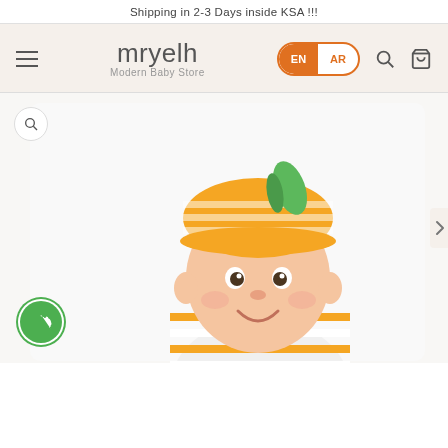Shipping in 2-3 Days inside KSA !!!
[Figure (logo): mryelh Modern Baby Store logo with EN/AR language toggle and navigation icons]
[Figure (photo): Baby wearing orange and white striped hat with green leaf accent, smiling, dressed in matching orange striped outfit. WhatsApp share button and zoom icon visible.]